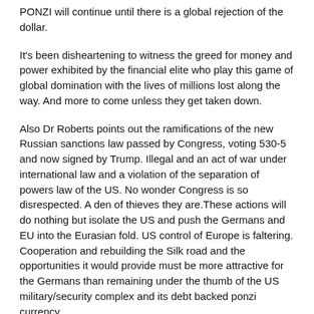PONZI will continue until there is a global rejection of the dollar.
It's been disheartening to witness the greed for money and power exhibited by the financial elite who play this game of global domination with the lives of millions lost along the way. And more to come unless they get taken down.
Also Dr Roberts points out the ramifications of the new Russian sanctions law passed by Congress, voting 530-5 and now signed by Trump. Illegal and an act of war under international law and a violation of the separation of powers law of the US. No wonder Congress is so disrespected. A den of thieves they are.These actions will do nothing but isolate the US and push the Germans and EU into the Eurasian fold. US control of Europe is faltering. Cooperation and rebuilding the Silk road and the opportunities it would provide must be more attractive for the Germans than remaining under the thumb of the US military/security complex and its debt backed ponzi currency.
I wish you could have asked Dr Roberts about the cashless society > when your wealth will become a set of zeros and one's and subject to full government control. Checkmate. Game over.